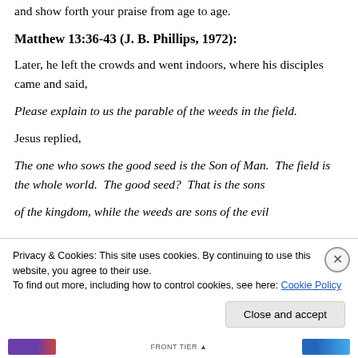and show forth your praise from age to age.
Matthew 13:36-43 (J. B. Phillips, 1972):
Later, he left the crowds and went indoors, where his disciples came and said,
Please explain to us the parable of the weeds in the field.
Jesus replied,
The one who sows the good seed is the Son of Man.  The field is the whole world.  The good seed?  That is the sons of the kingdom, while the weeds are sons of the evil...
Privacy & Cookies: This site uses cookies. By continuing to use this website, you agree to their use.
To find out more, including how to control cookies, see here: Cookie Policy